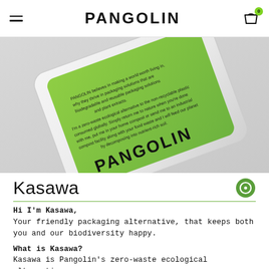PANGOLIN
[Figure (photo): A close-up product shot of a green biodegradable packaging pouch with PANGOLIN branding, tilted at an angle on a light grey background. The pouch has text about zero-waste ecological packaging.]
Kasawa
Hi I'm Kasawa,
Your friendly packaging alternative, that keeps both you and our biodiversity happy.
What is Kasawa?
Kasawa is Pangolin's zero-waste ecological alternative